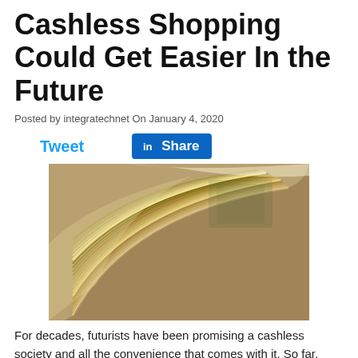Cashless Shopping Could Get Easier In the Future
Posted by integratechnet On January 4, 2020
Tweet  |  Share
[Figure (photo): Close-up photo of a thick stack of US dollar bills fanned out, showing the edges and layers of cash currency.]
For decades, futurists have been promising a cashless society and all the convenience that comes with it. So far,